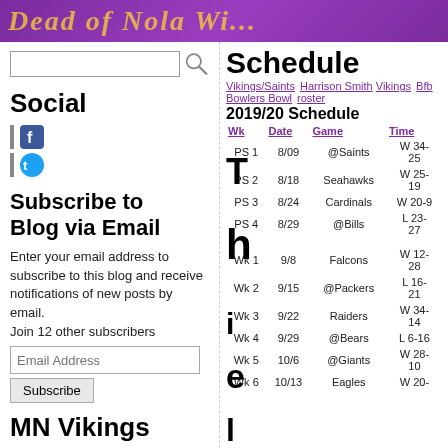Dead of Nola Wiki (partial banner)
Social
Subscribe to Blog via Email
Enter your email address to subscribe to this blog and receive notifications of new posts by email. Join 12 other subscribers
MN Vikings
Schedule
2019/20 Schedule
| Wk | Date | Game | Time |
| --- | --- | --- | --- |
| PS 1 | 8/09 | @Saints | W 34-25 |
| PS 2 | 8/18 | Seahawks | W 25-19 |
| PS 3 | 8/24 | Cardinals | W 20-9 |
| PS 4 | 8/29 | @Bills | L 23-27 |
| Wk 1 | 9/8 | Falcons | W 12-28 |
| Wk 2 | 9/15 | @Packers | L 16-21 |
| Wk 3 | 9/22 | Raiders | W 34-14 |
| Wk 4 | 9/29 | @Bears | L 6-16 |
| Wk 5 | 10/6 | @Giants | W 28-10 |
| Wk 6 | 10/13 | Eagles | W 20- |